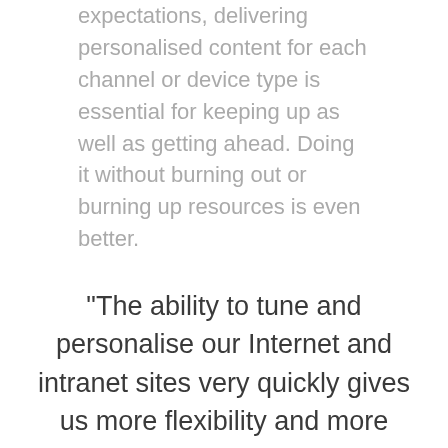expectations, delivering personalised content for each channel or device type is essential for keeping up as well as getting ahead. Doing it without burning out or burning up resources is even better.
"The ability to tune and personalise our Internet and intranet sites very quickly gives us more flexibility and more opportunities to acquire customers and keep our employees more productive."